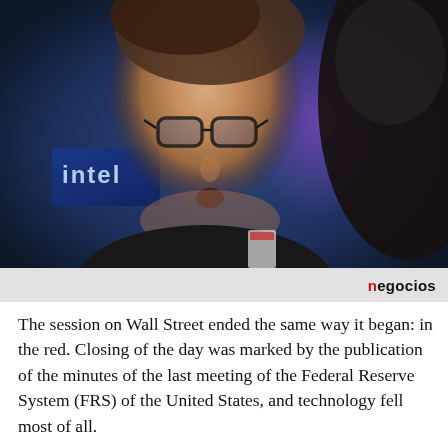[Figure (photo): Two men in conversation on a stock exchange trading floor. The man on the left faces the camera, wearing glasses and a dark jacket, mouth open as if speaking. The man on the right is seen from behind. Background shows blue/purple trading screens including what appears to be an Intel logo display.]
negocios
The session on Wall Street ended the same way it began: in the red. Closing of the day was marked by the publication of the minutes of the last meeting of the Federal Reserve System (FRS) of the United States, and technology fell most of all.
The Dow Jones Industrials fell 0.50% to 33,980.32 and the NASDAQ fell 1.78% to 13,542. Technology stocks and